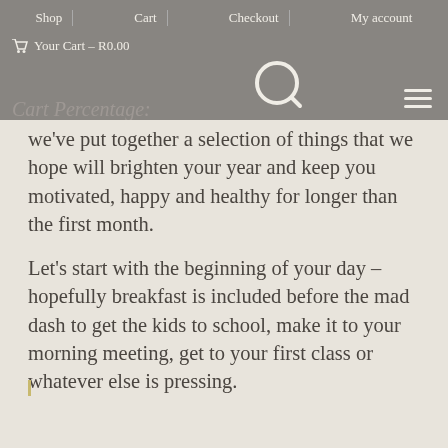Shop | Cart | Checkout | My account
Your Cart – R0.00
We've put together a selection of things that we hope will brighten your year and keep you motivated, happy and healthy for longer than the first month.
Let's start with the beginning of your day – hopefully breakfast is included before the mad dash to get the kids to school, make it to your morning meeting, get to your first class or whatever else is pressing.